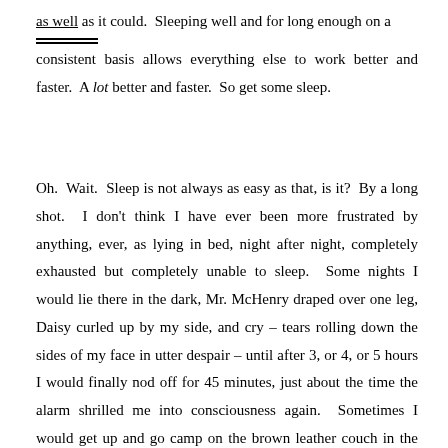as well as it could.  Sleeping well and for long enough on a consistent basis allows everything else to work better and faster.  A lot better and faster.  So get some sleep.
Oh.  Wait.  Sleep is not always as easy as that, is it?  By a long shot.  I don't think I have ever been more frustrated by anything, ever, as lying in bed, night after night, completely exhausted but completely unable to sleep.  Some nights I would lie there in the dark, Mr. McHenry draped over one leg, Daisy curled up by my side, and cry – tears rolling down the sides of my face in utter despair – until after 3, or 4, or 5 hours I would finally nod off for 45 minutes, just about the time the alarm shrilled me into consciousness again.  Sometimes I would get up and go camp on the brown leather couch in the den, Mr. McHenry in tow, like changing the décor would somehow lull my body into sleep